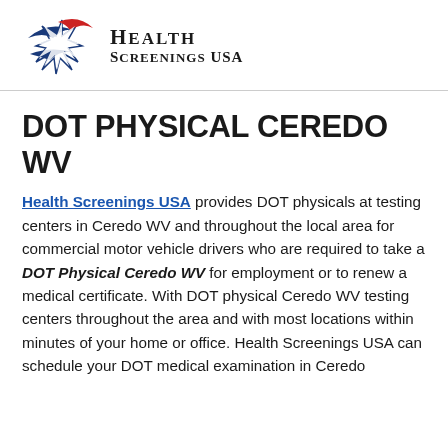[Figure (logo): Health Screenings USA logo with star and swoosh graphic in blue and red, with bold serif text 'Health Screenings USA']
DOT PHYSICAL CEREDO WV
Health Screenings USA provides DOT physicals at testing centers in Ceredo WV and throughout the local area for commercial motor vehicle drivers who are required to take a DOT Physical Ceredo WV for employment or to renew a medical certificate. With DOT physical Ceredo WV testing centers throughout the area and with most locations within minutes of your home or office. Health Screenings USA can schedule your DOT medical examination in Ceredo